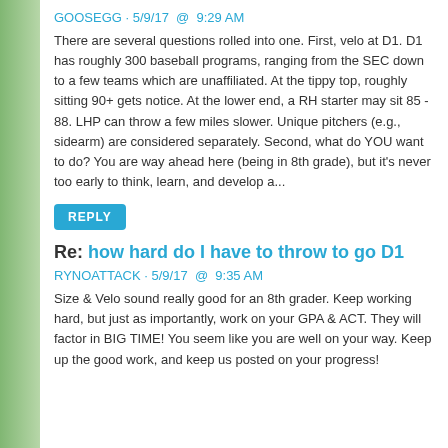GOOSEGG · 5/9/17 @ 9:29 AM
There are several questions rolled into one. First, velo at D1. D1 has roughly 300 baseball programs, ranging from the SEC down to a few teams which are unaffiliated. At the tippy top, roughly sitting 90+ gets notice. At the lower end, a RH starter may sit 85 - 88. LHP can throw a few miles slower. Unique pitchers (e.g., sidearm) are considered separately. Second, what do YOU want to do? You are way ahead here (being in 8th grade), but it's never too early to think, learn, and develop a...
REPLY
Re: how hard do I have to throw to go D1
RYNOATTACK · 5/9/17 @ 9:35 AM
Size & Velo sound really good for an 8th grader. Keep working hard, but just as importantly, work on your GPA & ACT. They will factor in BIG TIME! You seem like you are well on your way. Keep up the good work, and keep us posted on your progress!